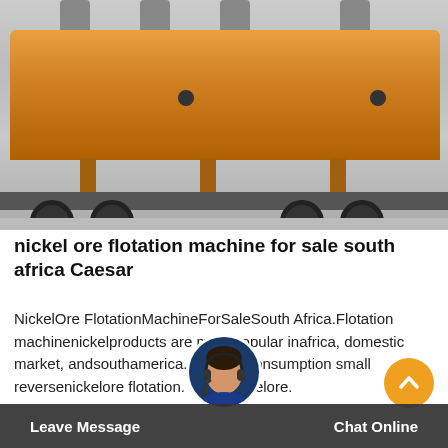[Figure (photo): Large industrial flotation machine mounted on a flatbed truck, orange/yellow in color with multiple cylindrical components and pipes on top, being transported on a road.]
nickel ore flotation machine for sale south africa Caesar
NickelOre FlotationMachineForSaleSouth Africa.Flotation machinenickelproducts are most popular inafrica, domestic market, andsouthamerica. buy low consumption small reversenickelore flotation. vi s ofnickelore.
Leave Message    Chat Online